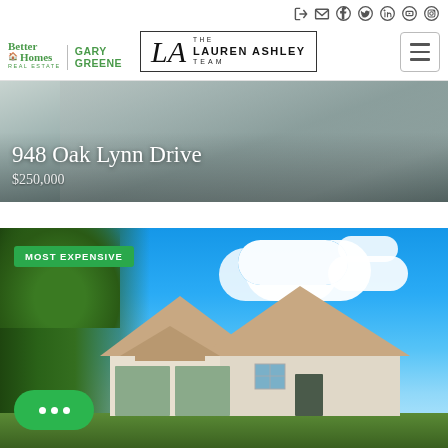[Figure (screenshot): Website header with Better Homes & Gardens / Gary Greene logo on left, The Lauren Ashley Team logo in center, and navigation icons plus hamburger menu on right]
[Figure (photo): Property listing banner image showing a driveway/road, overlaid with address text '948 Oak Lynn Drive' and price '$250,000']
948 Oak Lynn Drive
$250,000
[Figure (photo): Exterior photo of a house with blue sky and clouds in background, trees on left side, tagged with 'MOST EXPENSIVE' green badge]
MOST EXPENSIVE